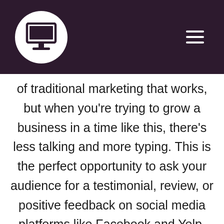[Figure (logo): White circle containing a desktop computer monitor icon, on a dark purple header bar with a hamburger menu icon on the right]
of traditional marketing that works, but when you're trying to grow a business in a time like this, there's less talking and more typing. This is the perfect opportunity to ask your audience for a testimonial, review, or positive feedback on social media platforms like Facebook and Yelp. Positive reviews are the first thing people look for when deciding to make a purchase, book a table, or even book a new hair stylist. The world wants to hear positive things about what they